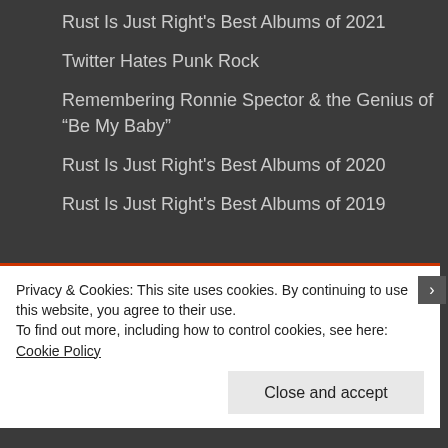Rust Is Just Right's Best Albums of 2021
Twitter Hates Punk Rock
Remembering Ronnie Spector & the Genius of “Be My Baby”
Rust Is Just Right's Best Albums of 2020
Rust Is Just Right's Best Albums of 2019
Privacy & Cookies: This site uses cookies. By continuing to use this website, you agree to their use.
To find out more, including how to control cookies, see here: Cookie Policy